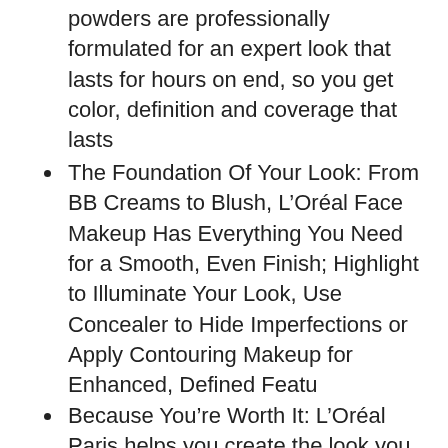powders are professionally formulated for an expert look that lasts for hours on end, so you get color, definition and coverage that lasts
The Foundation Of Your Look: From BB Creams to Blush, L’Oréal Face Makeup Has Everything You Need for a Smooth, Even Finish; Highlight to Illuminate Your Look, Use Concealer to Hide Imperfections or Apply Contouring Makeup for Enhanced, Defined Featu
Because You’re Worth It: L’Oréal Paris helps you create the look you want with our full line of makeup including foundations, concealers, highlighter makeup, eyeshadow palettes, lipsticks and much more
Perfect To Pair With: Try with our Infallible Pro Glow Face Primer to prepare, perfect and illuminate while it hydrates skin for better makeup application